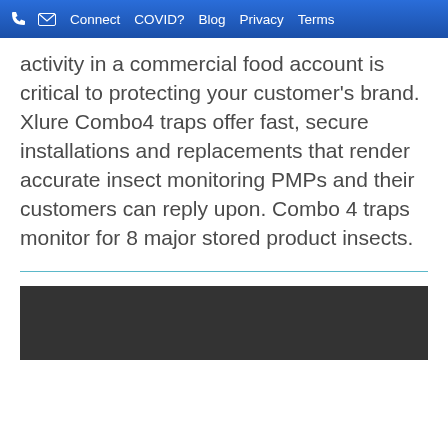Connect COVID? Blog Privacy Terms
activity in a commercial food account is critical to protecting your customer's brand. Xlure Combo4 traps offer fast, secure installations and replacements that render accurate insect monitoring PMPs and their customers can reply upon. Combo 4 traps monitor for 8 major stored product insects.
[Figure (other): Dark gray/black rectangular video or image placeholder at the bottom of the page]